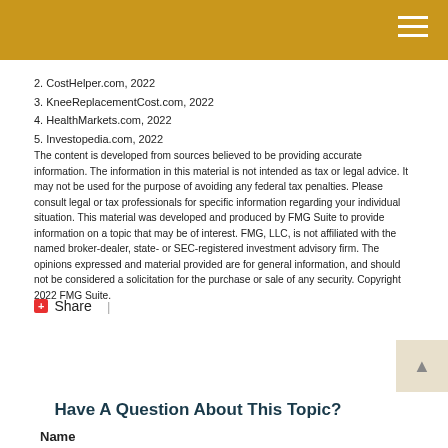2. CostHelper.com, 2022
3. KneeReplacementCost.com, 2022
4. HealthMarkets.com, 2022
5. Investopedia.com, 2022
The content is developed from sources believed to be providing accurate information. The information in this material is not intended as tax or legal advice. It may not be used for the purpose of avoiding any federal tax penalties. Please consult legal or tax professionals for specific information regarding your individual situation. This material was developed and produced by FMG Suite to provide information on a topic that may be of interest. FMG, LLC, is not affiliated with the named broker-dealer, state- or SEC-registered investment advisory firm. The opinions expressed and material provided are for general information, and should not be considered a solicitation for the purchase or sale of any security. Copyright 2022 FMG Suite.
+Share |
Have A Question About This Topic?
Name